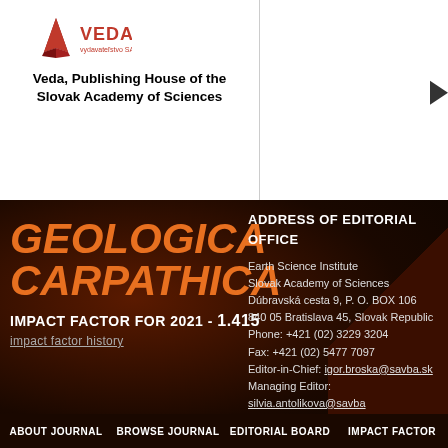[Figure (logo): VEDA publishing house logo — stylized open book in dark red with 'VEDA' text and 'vydavateľstvo SAV' below]
Veda, Publishing House of the Slovak Academy of Sciences
GEOLOGICA CARPATHICA
IMPACT FACTOR FOR 2021 - 1.415
impact factor history
ADDRESS OF EDITORIAL OFFICE
Earth Science Institute
Slovak Academy of Sciences
Dúbravská cesta 9, P. O. BOX 106
840 05 Bratislava 45, Slovak Republic
Phone: +421 (02) 3229 3204
Fax: +421 (02) 5477 7097
Editor-in-Chief: igor.broska@savba.sk
Managing Editor: silvia.antolikova@savba.sk
ABOUT JOURNAL   BROWSE JOURNAL   EDITORIAL BOARD   IMPACT FACTOR